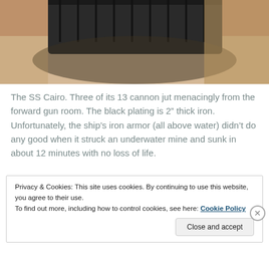[Figure (photo): Partial view of the SS Cairo ironclad ship showing the forward gun room area with brick-red/sandy surroundings and dark iron plating visible at the top.]
The SS Cairo.  Three of its 13 cannon jut menacingly from the forward gun room.  The black plating is 2" thick iron.  Unfortunately, the ship's iron armor (all above water) didn't do any good when it struck an underwater mine and sunk in about 12 minutes with no loss of life.
[Figure (screenshot): Advertisement banner with dark background showing text 'money-making online course.' with a submarine/ship icon and a REPORT THIS AD label.]
Privacy & Cookies: This site uses cookies. By continuing to use this website, you agree to their use.
To find out more, including how to control cookies, see here: Cookie Policy
Close and accept